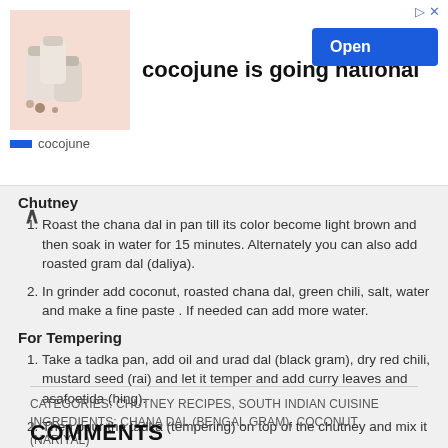[Figure (screenshot): Advertisement banner for cocojune brand showing product containers image, text 'cocojune is going national', an Open button, and cocojune logo/name at bottom]
Chutney
Roast the chana dal in pan till its color become light brown and then soak in water for 15 minutes. Alternately you can also add roasted gram dal (daliya).
In grinder add coconut, roasted chana dal, green chili, salt, water and make a fine paste . If needed can add more water.
For Tempering
Take a tadka pan, add oil and urad dal (black gram), dry red chili, mustard seed (rai) and let it temper and add curry leaves and asafoetida (hing).
Then pour the tadka (tempering) on top of the chutney and mix it .
CATEGORIES: CHUTNEY RECIPES, SOUTH INDIAN CUISINE INGREDIENTS: CHANA DAL (BENGAL GRAM), COCONUT (NARIYAL)
COMMENTS